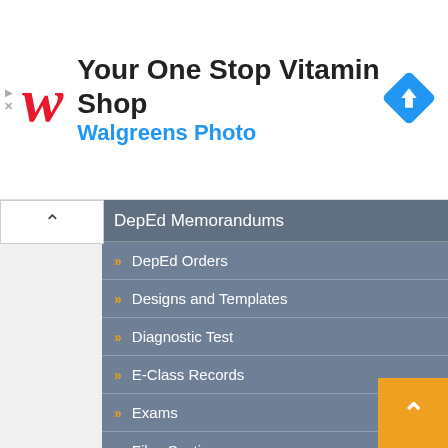[Figure (screenshot): Walgreens ad banner: red W logo, 'Your One Stop Vitamin Shop' heading, 'Walgreens Photo' subheading in blue, blue diamond arrow icon on right, navigation close icons on left]
DepEd Memorandums
» DepEd Orders
» Designs and Templates
» Diagnostic Test
» E-Class Records
» Exams
» Files Section
» Government Forms
» Graduation
» Inspirational Stories
» Instructional Materials